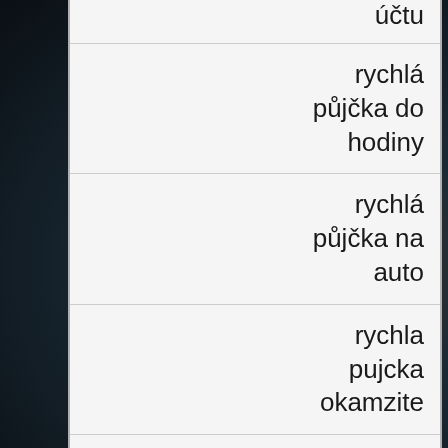učtu
rychlá půjčka do hodiny
rychlá půjčka na auto
rychla pujcka okamzite
pujcky od soukromníků
půjčky od